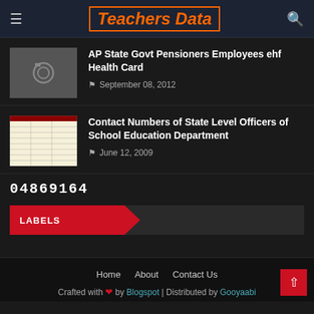Teachers Data
AP State Govt Pensioners Employees ehf Health Card
September 08, 2012
Contact Numbers of State Level Officers of School Education Department
June 12, 2009
04869164
LABELS
Home   About   Contact Us
Crafted with ♥ by Blogspot | Distributed by Gooyaabi